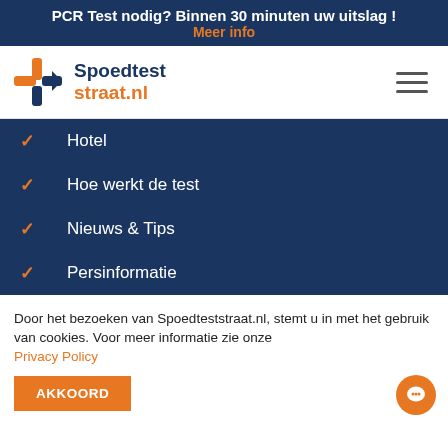PCR Test nodig? Binnen 30 minuten uw uitslag ! Meer info
[Figure (logo): Spoedteststraat.nl logo with orange and dark blue cross/arrow icon and text]
Hotel
Hoe werkt de test
Nieuws & Tips
Persinformatie
Door het bezoeken van Spoedteststraat.nl, stemt u in met het gebruik van cookies. Voor meer informatie zie onze Privacy Policy
AKKOORD